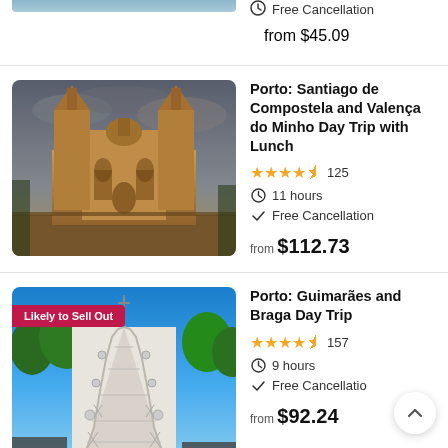[Figure (photo): Partial top image cropped at top of page]
Free Cancellation
from $45.09
[Figure (photo): Santiago de Compostela Cathedral at golden hour with dramatic cloudy sky]
Porto: Santiago de Compostela and Valença do Minho Day Trip with Lunch
4.5 stars, 125 reviews
11 hours
Free Cancellation
from $112.73
[Figure (photo): Bom Jesus do Monte staircase in Braga with Likely to Sell Out badge]
Porto: Guimarães and Braga Day Trip
4.5 stars, 157 reviews
9 hours
Free Cancellation
from $92.24